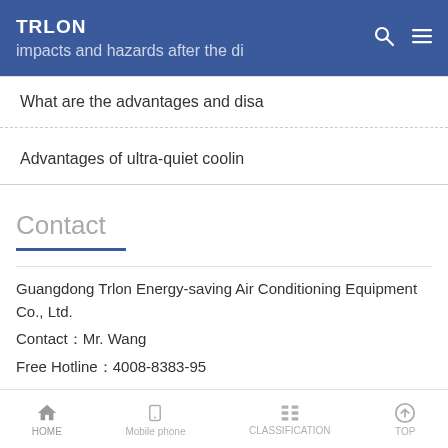TRLON | impacts and hazards after the di
What are the advantages and disa
Advantages of ultra-quiet coolin
Contact
Guangdong Trlon Energy-saving Air Conditioning Equipment Co., Ltd.
Contact：Mr. Wang
Free Hotline：4008-8383-95
Company Email：sales@trlon.com
Web Site：https://www.trlen.com/
HOME | Mobile phone | CLASSIFICATION | TOP